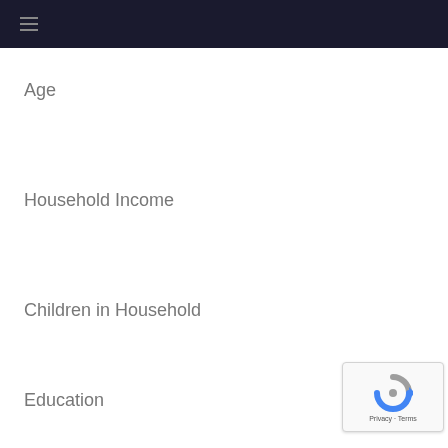≡
Age
Household Income
Children in Household
Education
[Figure (other): reCAPTCHA badge with Privacy · Terms text]